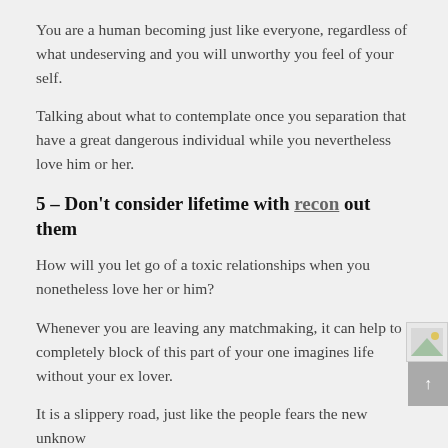You are a human becoming just like everyone, regardless of what undeserving and you will unworthy you feel of your self.
Talking about what to contemplate once you separation that have a great dangerous individual while you nevertheless love him or her.
5 – Don't consider lifetime with recon out them
How will you let go of a toxic relationships when you nonetheless love her or him?
Whenever you are leaving any matchmaking, it can help to completely block of this part of your one imagines life without your ex lover.
It is a slippery road, just like the people fears the new unknow For folks who don't handle these advice the proper way, there is